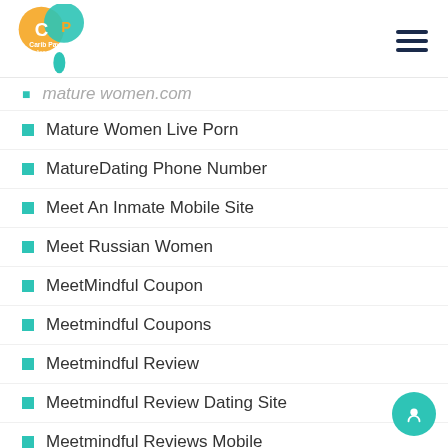[Figure (logo): Carib Pay App logo - orange and teal circular CP design]
mature women.com (partial, cut off)
Mature Women Live Porn
MatureDating Phone Number
Meet An Inmate Mobile Site
Meet Russian Women
MeetMindful Coupon
Meetmindful Coupons
Meetmindful Review
Meetmindful Review Dating Site
Meetmindful Reviews Mobile
Mexicancupid Reviews